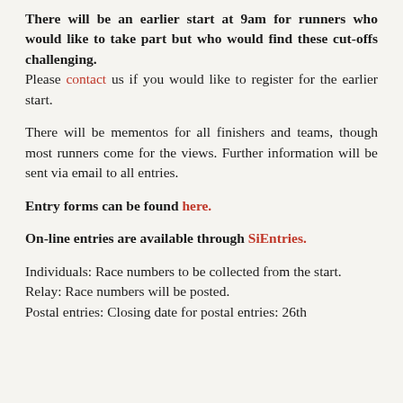There will be an earlier start at 9am for runners who would like to take part but who would find these cut-offs challenging. Please contact us if you would like to register for the earlier start.
There will be mementos for all finishers and teams, though most runners come for the views. Further information will be sent via email to all entries.
Entry forms can be found here.
On-line entries are available through SiEntries.
Individuals: Race numbers to be collected from the start. Relay: Race numbers will be posted. Postal entries: Closing date for postal entries: 26th